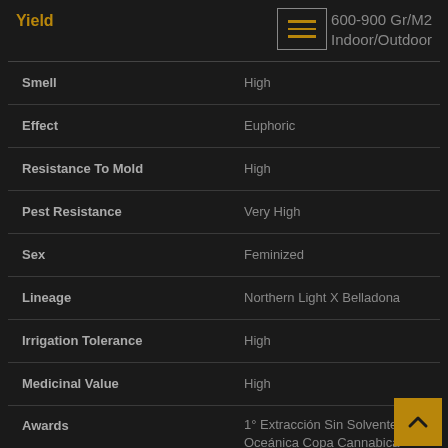| Property | Value |
| --- | --- |
| Yield | 600-900 Gr/M2 Indoor/Outdoor |
| Smell | High |
| Effect | Euphoric |
| Resistance To Mold | High |
| Pest Resistance | Very High |
| Sex | Feminized |
| Lineage | Northern Light X Belladona |
| Irrigation Tolerance | High |
| Medicinal Value | High |
| Awards | 1° Extracción Sin Solventes - Oceánica Copa Cannabica Uruguay 2017 |